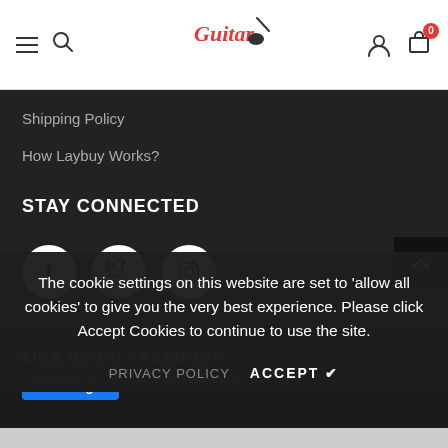Guitar Crazy — navigation header with logo, hamburger menu, search, account, and cart icons
Shipping Policy
How Laybuy Works?
STAY CONNECTED
[Figure (infographic): Three social media icon circles: Facebook (f), Twitter (bird), Instagram (camera). Back-to-top arrow button on right.]
The cookie settings on this website are set to 'allow all cookies' to give you the very best experience. Please click Accept Cookies to continue to use the site.
PRIVACY POLICY   ACCEPT ✔
LIKE US ON FACEBOOK
SIGN UP FOR OUR NEWSLETTER
UNAVAILABLE